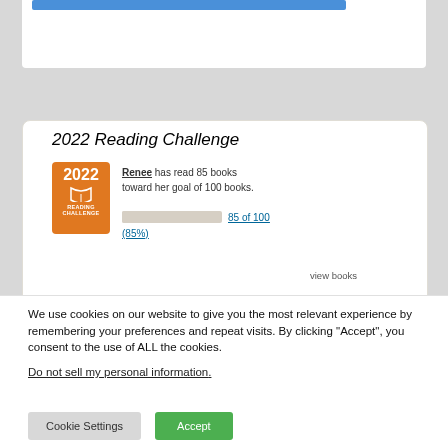[Figure (screenshot): Partial white card with blue bar at top, cropped at page top]
[Figure (screenshot): 2022 Reading Challenge widget. Orange badge with '2022 READING CHALLENGE' book icon. Text: Renee has read 85 books toward her goal of 100 books. Progress bar at 85%. Link: 85 of 100 (85%). Link: view books.]
We use cookies on our website to give you the most relevant experience by remembering your preferences and repeat visits. By clicking “Accept”, you consent to the use of ALL the cookies.
Do not sell my personal information.
Cookie Settings
Accept